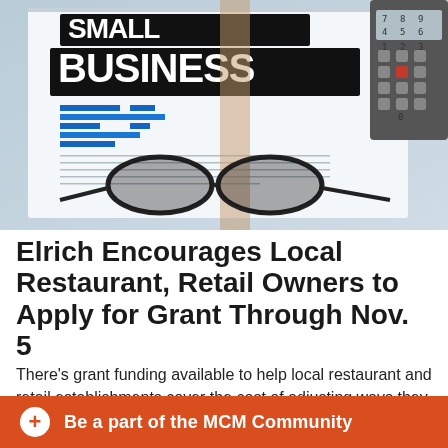[Figure (photo): Photo of a small business financial document with blue bar charts and the word 'BUSINESS' in large bold text, with a pair of glasses and a calculator in the background]
Elrich Encourages Local Restaurant, Retail Owners to Apply for Grant Through Nov. 5
There's grant funding available to help local restaurant and retail establishments cover the cost of adjusting ways they interact with customers amid the COVID-19 pandemic-
Be a part of the MCM Community